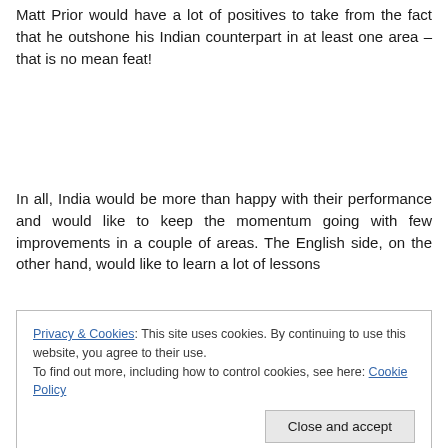Matt Prior would have a lot of positives to take from the fact that he outshone his Indian counterpart in at least one area – that is no mean feat!
In all, India would be more than happy with their performance and would like to keep the momentum going with few improvements in a couple of areas. The English side, on the other hand, would like to learn a lot of lessons
Privacy & Cookies: This site uses cookies. By continuing to use this website, you agree to their use.
To find out more, including how to control cookies, see here: Cookie Policy
[Close and accept button]